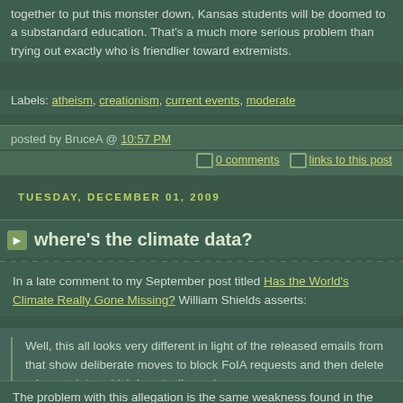together to put this monster down, Kansas students will be doomed to a substandard education. That's a much more serious problem than trying out exactly who is friendlier toward extremists.
Labels: atheism, creationism, current events, moderate
posted by BruceA @ 10:57 PM
0 comments   links to this post
TUESDAY, DECEMBER 01, 2009
where's the climate data?
In a late comment to my September post titled Has the World's Climate Really Gone Missing? William Shields asserts:
Well, this all looks very different in light of the released emails from that show deliberate moves to block FoIA requests and then delete relevant data, which is actually a crime.
The problem with this allegation is the same weakness found in the orig tabloid style articles from the Register and the National Review wh